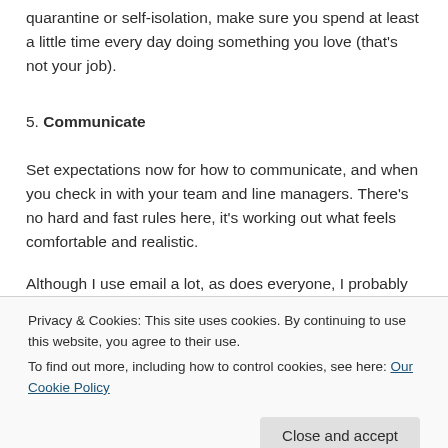quarantine or self-isolation, make sure you spend at least a little time every day doing something you love (that's not your job).
5. Communicate
Set expectations now for how to communicate, and when you check in with your team and line managers. There's no hard and fast rules here, it's working out what feels comfortable and realistic.
Although I use email a lot, as does everyone, I probably use the phone more than when I was office based – it
Privacy & Cookies: This site uses cookies. By continuing to use this website, you agree to their use.
To find out more, including how to control cookies, see here: Our Cookie Policy
Close and accept
started working remotely – it ups and adds your need Don't use all the same is the lower